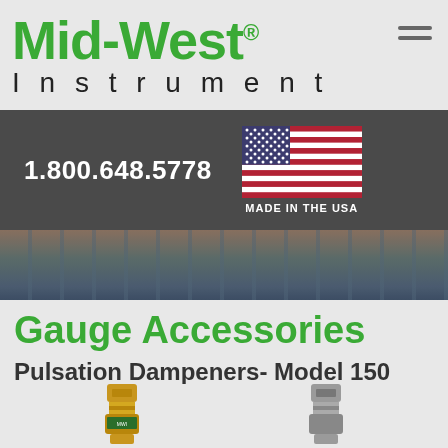[Figure (logo): Mid-West Instrument logo with green bold 'Mid-West®' text and black 'Instrument' text below]
[Figure (infographic): Dark gray banner with phone number 1.800.648.5778 and US flag with 'MADE IN THE USA' text]
[Figure (photo): Industrial pipes/plant aerial photograph strip]
Gauge Accessories
Pulsation Dampeners- Model 150
[Figure (photo): Two pulsation dampener product photos - brass and steel fittings]